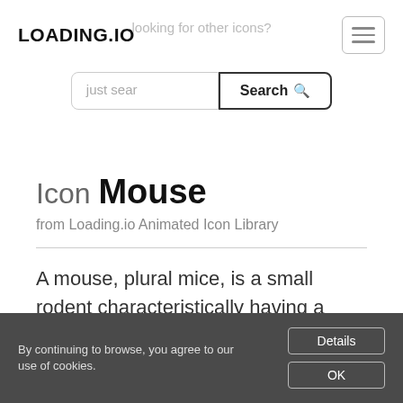LOADING.IO
looking for other icons?
[Figure (other): Hamburger menu icon button (three horizontal lines in a rounded rectangle)]
just search | Search
Icon Mouse
from Loading.io Animated Icon Library
A mouse, plural mice, is a small rodent characteristically having a pointed
By continuing to browse, you agree to our use of cookies.